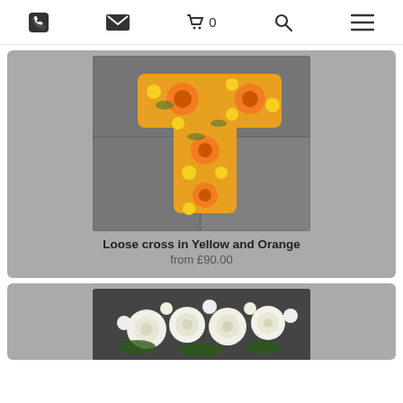Phone | Email | Cart 0 | Search | Menu
[Figure (photo): A cross-shaped floral arrangement made of orange gerberas and yellow flowers on a grey stone background]
Loose cross in Yellow and Orange
from £90.00
[Figure (photo): A cluster of white roses and white flowers arranged in a group, partially visible at bottom of page]